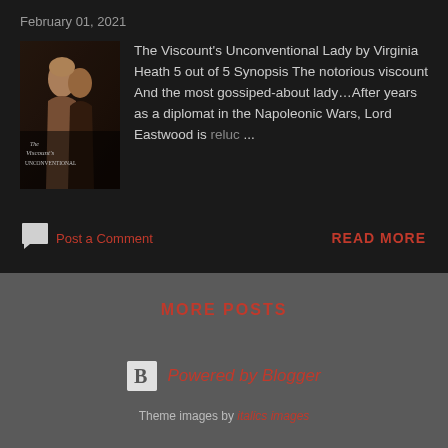February 01, 2021
[Figure (illustration): Book cover of The Viscount's Unconventional Lady, showing a romantic couple in Regency-era attire in dark tones]
The Viscount's Unconventional Lady by Virginia Heath 5 out of 5 Synopsis The notorious viscount And the most gossiped-about lady…After years as a diplomat in the Napoleonic Wars, Lord Eastwood is reluc...
Post a Comment
READ MORE
MORE POSTS
Powered by Blogger
Theme images by italics images